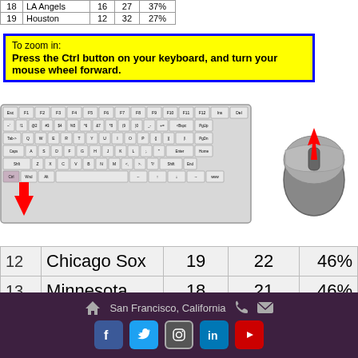|  | Team | W | L | Pct |
| --- | --- | --- | --- | --- |
| 18 | LA Angels | 16 | 27 | 37% |
| 19 | Houston | 12 | 32 | 27% |
To zoom in:
Press the Ctrl button on your keyboard, and turn your mouse wheel forward.
[Figure (illustration): Keyboard diagram with Ctrl key highlighted by red arrow, and a computer mouse with scroll wheel highlighted in red]
|  | Team | Wins | Losses | Perce |
| --- | --- | --- | --- | --- |
| 12 | Chicago Sox | 19 | 22 | 46% |
| 13 | Minnesota | 18 | 21 | 46% |
| 14 | WEST | Wins | Losses | Perce |
| 15 | Texas | 28 | 15 | 65% |
| 16 | Oakland | 22 | 22 | 50% |
San Francisco, California